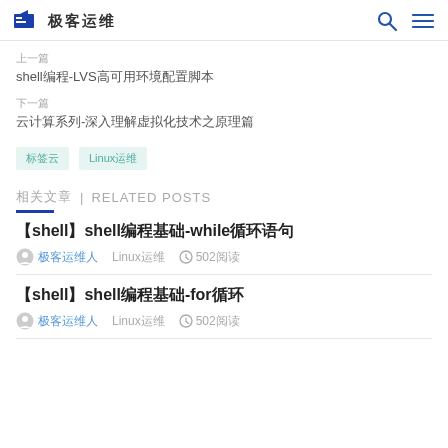极客运维
上一篇
shell编程-LVS高可用环境配置脚本
下一篇
云计算系列-深入理解虚拟化技术之原理篇
标签云  Linux运维
相关文章 | RELATED POSTS
【shell】shell编程基础-while循环语句
极客运维人  Linux运维  502阅读
【shell】shell编程基础-for循环
极客运维人  Linux运维  502阅读